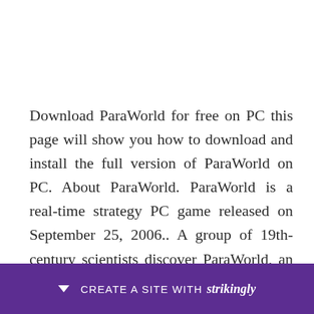Download ParaWorld for free on PC this page will show you how to download and install the full version of ParaWorld on PC. About ParaWorld. ParaWorld is a real-time strategy PC game released on September 25, 2006.. A group of 19th-century scientists discover ParaWorld, an alternate universe where dinosaurs never became ... It&#39;s simple: First of all, download the PWCleaner. ... If you need any help, feel free to comm… l 9 2020… e Jan
[Figure (other): Purple banner at the bottom of the page: a downward arrow icon, text 'CREATE A SITE WITH' and 'strikingly' in bold italic — Strikingly website builder promotional banner.]